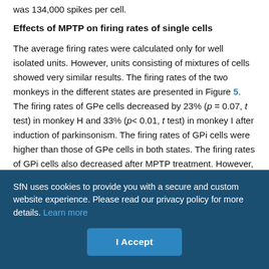was 134,000 spikes per cell.
Effects of MPTP on firing rates of single cells
The average firing rates were calculated only for well isolated units. However, units consisting of mixtures of cells showed very similar results. The firing rates of the two monkeys in the different states are presented in Figure 5. The firing rates of GPe cells decreased by 23% (p = 0.07, t test) in monkey H and 33% (p< 0.01, t test) in monkey I after induction of parkinsonism. The firing rates of GPi cells were higher than those of GPe cells in both states. The firing rates of GPi cells also decreased after MPTP treatment. However, the decrease was not significant and much smaller compared with GPe cells (11% for monkey H and 20% for monkey I). Border cells did not
SfN uses cookies to provide you with a secure and custom website experience. Please read our privacy policy for more details. Learn more
I Accept